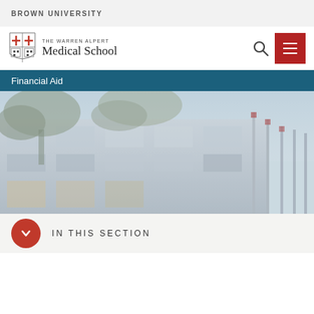BROWN UNIVERSITY
[Figure (logo): The Warren Alpert Medical School logo with shield and text]
Financial Aid
[Figure (photo): Exterior photo of a modern medical school building with trees]
IN THIS SECTION